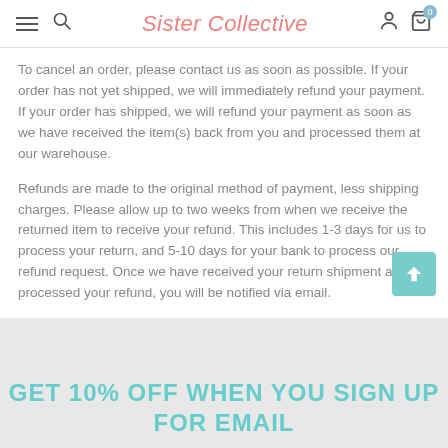Sister Collective
To cancel an order, please contact us as soon as possible.  If your order has not yet shipped, we will immediately refund your payment.  If your order has shipped, we will refund your payment as soon as we have received the item(s) back from you and processed them at our warehouse.
Refunds are made to the original method of payment, less shipping charges.  Please allow up to two weeks from when we receive the returned item to receive your refund.  This includes 1-3 days for us to process your return, and 5-10 days for your bank to process our refund request.  Once we have received your return shipment and processed your refund, you will be notified via email.
GET 10% OFF WHEN YOU SIGN UP FOR EMAIL